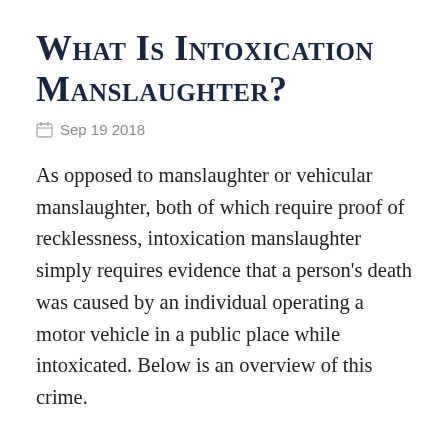What Is Intoxication Manslaughter?
Sep 19 2018
As opposed to manslaughter or vehicular manslaughter, both of which require proof of recklessness, intoxication manslaughter simply requires evidence that a person's death was caused by an individual operating a motor vehicle in a public place while intoxicated. Below is an overview of this crime.
Proving Intoxication Manslaughter